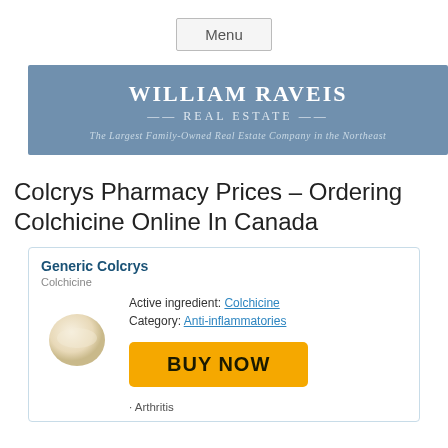Menu
[Figure (logo): William Raveis Real Estate banner — blue background, white text reading WILLIAM RAVEIS REAL ESTATE, tagline: The Largest Family-Owned Real Estate Company in the Northeast]
Colcrys Pharmacy Prices – Ordering Colchicine Online In Canada
| Generic Colcrys |  |
| Colchicine |  |
| [pill image] | Active ingredient: Colchicine
Category: Anti-inflammatories
[BUY NOW button]
· Arthritis |